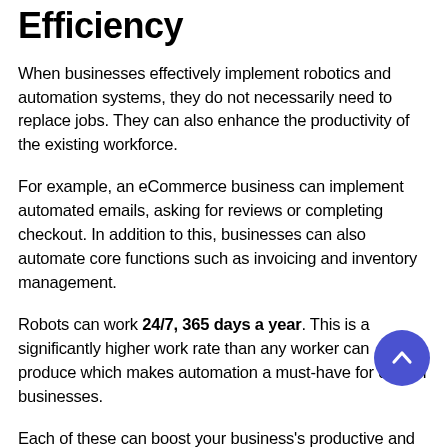Efficiency
When businesses effectively implement robotics and automation systems, they do not necessarily need to replace jobs. They can also enhance the productivity of the existing workforce.
For example, an eCommerce business can implement automated emails, asking for reviews or completing checkout. In addition to this, businesses can also automate core functions such as invoicing and inventory management.
Robots can work 24/7, 365 days a year. This is a significantly higher work rate than any worker can produce which makes automation a must-have for certain businesses.
Each of these can boost your business's productive and operational efficiency, allowing you to serve more